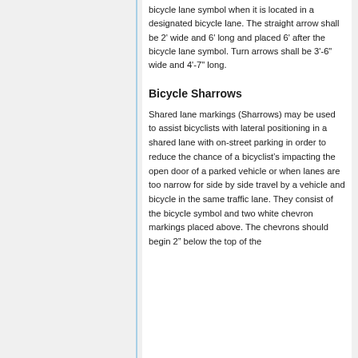bicycle lane symbol when it is located in a designated bicycle lane. The straight arrow shall be 2' wide and 6' long and placed 6' after the bicycle lane symbol. Turn arrows shall be 3'-6" wide and 4'-7" long.
Bicycle Sharrows
Shared lane markings (Sharrows) may be used to assist bicyclists with lateral positioning in a shared lane with on-street parking in order to reduce the chance of a bicyclist’s impacting the open door of a parked vehicle or when lanes are too narrow for side by side travel by a vehicle and bicycle in the same traffic lane. They consist of the bicycle symbol and two white chevron markings placed above. The chevrons should begin 2” below the top of the